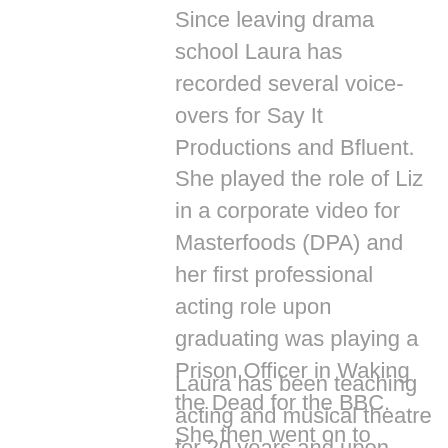Since leaving drama school Laura has recorded several voice-overs for Say It Productions and Bfluent. She played the role of Liz in a corporate video for Masterfoods (DPA) and her first professional acting role upon graduating was playing a Prison Officer in Waking the Dead for the BBC. She then went on to perform in the International tour of Disney's Beauty and the Beast where she played the sugar bowl for two years and then in her final year landed the role of Madame de la Grande Bouche.
Laura has been teaching acting and musical theatre for 20 years and upon graduating from drama school she decided to...